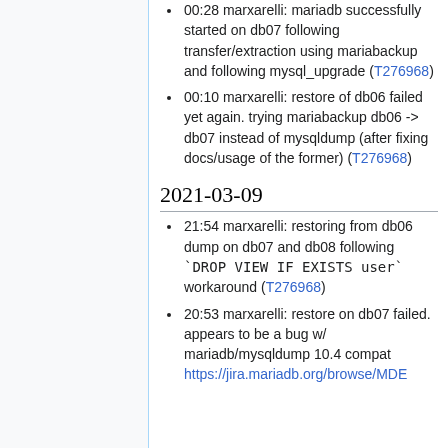00:28 marxarelli: mariadb successfully started on db07 following transfer/extraction using mariabackup and following mysql_upgrade (T276968)
00:10 marxarelli: restore of db06 failed yet again. trying mariabackup db06 -> db07 instead of mysqldump (after fixing docs/usage of the former) (T276968)
2021-03-09
21:54 marxarelli: restoring from db06 dump on db07 and db08 following `DROP VIEW IF EXISTS user` workaround (T276968)
20:53 marxarelli: restore on db07 failed. appears to be a bug w/ mariadb/mysqldump 10.4 compat https://jira.mariadb.org/browse/MDE